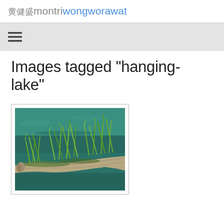黄健盛montriwongworawat
[Figure (other): Hamburger/menu icon (three horizontal lines)]
Images tagged "hanging-lake"
[Figure (photo): A photograph of a log or branch with green grass and moss growing on it, floating on or emerging from teal/turquoise water at Hanging Lake.]